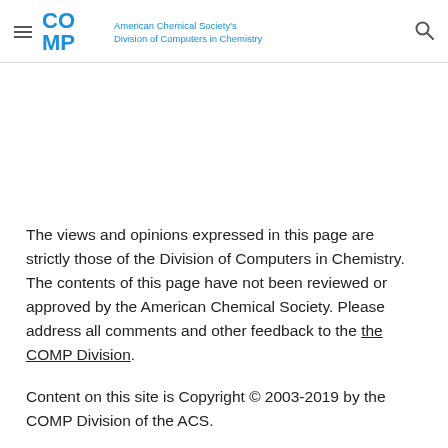American Chemical Society's Division of Computers in Chemistry
The views and opinions expressed in this page are strictly those of the Division of Computers in Chemistry. The contents of this page have not been reviewed or approved by the American Chemical Society. Please address all comments and other feedback to the the COMP Division.
Content on this site is Copyright © 2003-2019 by the COMP Division of the ACS.